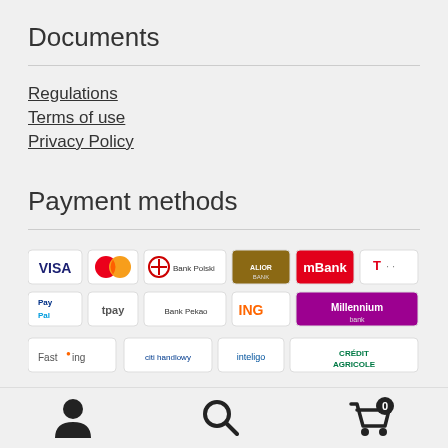Documents
Regulations
Terms of use
Privacy Policy
Payment methods
[Figure (logo): Payment method logos: VISA, MasterCard, Bank Polski, Alior Bank, mBank, T-Mobile, PayPal, tpay, Bank Pekao, ING, Millennium Bank, FastSpring, citi handlowy, inteligo, Credit Agricole]